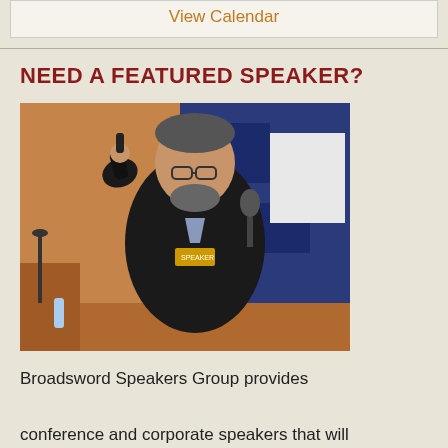View Calendar
NEED A FEATURED SPEAKER?
[Figure (photo): A male speaker at a conference holding a microphone in one hand and a clicker in the other hand raised, wearing a black jacket with a speaker badge, standing in front of a blue banner backdrop.]
Broadsword Speakers Group provides conference and corporate speakers that will